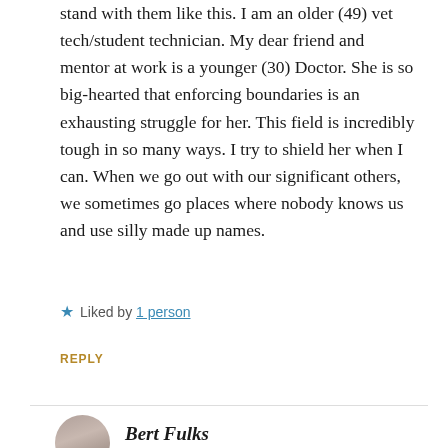stand with them like this. I am an older (49) vet tech/student technician. My dear friend and mentor at work is a younger (30) Doctor. She is so big-hearted that enforcing boundaries is an exhausting struggle for her. This field is incredibly tough in so many ways. I try to shield her when I can. When we go out with our significant others, we sometimes go places where nobody knows us and use silly made up names.
Liked by 1 person
REPLY
Bert Fulks